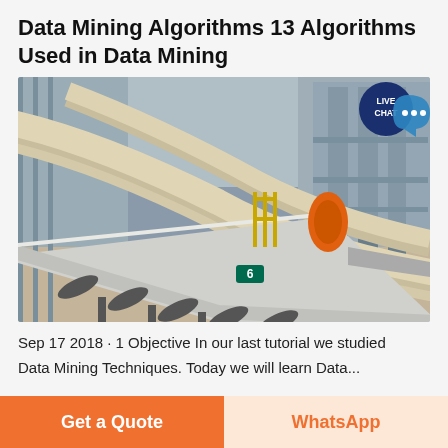Data Mining Algorithms 13 Algorithms Used in Data Mining
[Figure (photo): Industrial mining/conveyor equipment inside a large warehouse facility. Features a large inclined conveyor belt system with a beige pipe running alongside it, heavy machinery including an orange roller unit, and steel structural columns. A 'LIVE CHAT' badge in the upper right corner of the image.]
Sep 17 2018 · 1 Objective In our last tutorial we studied
Data Mining Techniques. Today we will learn Data...